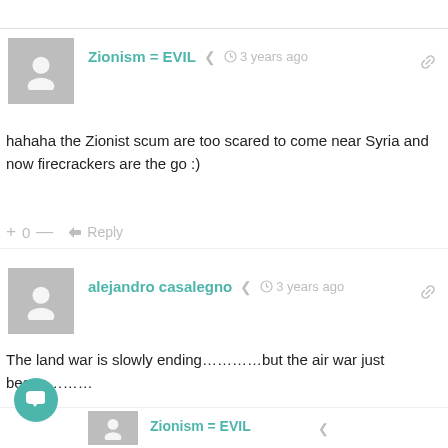Zionism = EVIL  3 years ago
hahaha the Zionist scum are too scared to come near Syria and now firecrackers are the go :)
+ 0 —  Reply
alejandro casalegno  3 years ago
The land war is slowly ending…………but the air war just began………
2019 will be the year of the SAMs!!!!
+204—  Reply
Zionism = EVIL